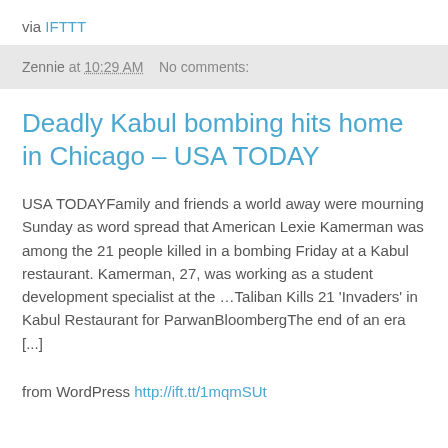via IFTTT
Zennie at 10:29 AM    No comments:
Deadly Kabul bombing hits home in Chicago – USA TODAY
USA TODAYFamily and friends a world away were mourning Sunday as word spread that American Lexie Kamerman was among the 21 people killed in a bombing Friday at a Kabul restaurant. Kamerman, 27, was working as a student development specialist at the …Taliban Kills 21 'Invaders' in Kabul Restaurant for ParwanBloombergThe end of an era [...]
from WordPress http://ift.tt/1mqmSUt